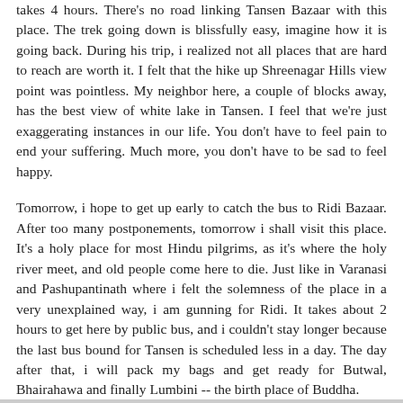takes 4 hours. There's no road linking Tansen Bazaar with this place. The trek going down is blissfully easy, imagine how it is going back. During his trip, i realized not all places that are hard to reach are worth it. I felt that the hike up Shreenagar Hills view point was pointless. My neighbor here, a couple of blocks away, has the best view of white lake in Tansen. I feel that we're just exaggerating instances in our life. You don't have to feel pain to end your suffering. Much more, you don't have to be sad to feel happy.
Tomorrow, i hope to get up early to catch the bus to Ridi Bazaar. After too many postponements, tomorrow i shall visit this place. It's a holy place for most Hindu pilgrims, as it's where the holy river meet, and old people come here to die. Just like in Varanasi and Pashupantinath where i felt the solemness of the place in a very unexplained way, i am gunning for Ridi. It takes about 2 hours to get here by public bus, and i couldn't stay longer because the last bus bound for Tansen is scheduled less in a day. The day after that, i will pack my bags and get ready for Butwal, Bhairahawa and finally Lumbini -- the birth place of Buddha.